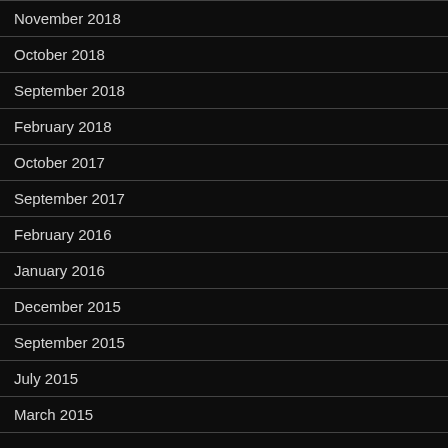November 2018
October 2018
September 2018
February 2018
October 2017
September 2017
February 2016
January 2016
December 2015
September 2015
July 2015
March 2015